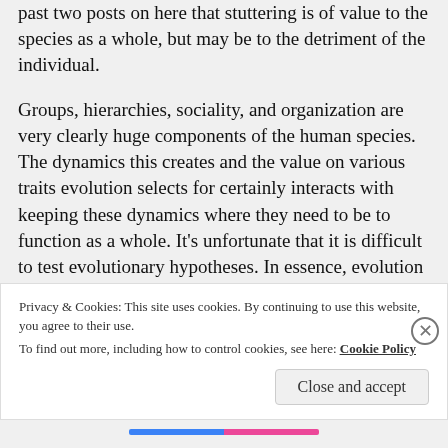past two posts on here that stuttering is of value to the species as a whole, but may be to the detriment of the individual.
Groups, hierarchies, sociality, and organization are very clearly huge components of the human species. The dynamics this creates and the value on various traits evolution selects for certainly interacts with keeping these dynamics where they need to be to function as a whole. It's unfortunate that it is difficult to test evolutionary hypotheses. In essence, evolution itself is still a theory for the profoundly close-minded who need a direct and
Privacy & Cookies: This site uses cookies. By continuing to use this website, you agree to their use.
To find out more, including how to control cookies, see here: Cookie Policy